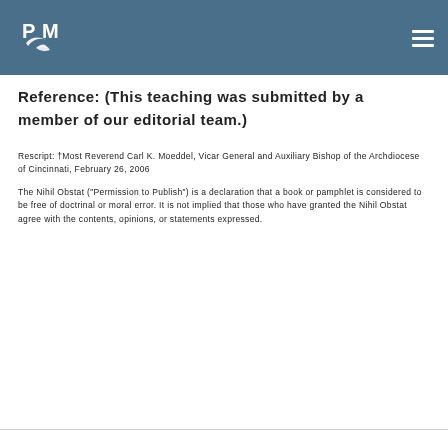[Figure (logo): PM logo with dove and leaf motif in white on blue background]
Reference:  (This teaching was submitted by a member of our editorial team.)
Rescript:  †Most Reverend Carl K. Moeddel, Vicar General and Auxiliary Bishop of the Archdiocese of Cincinnati, February 26, 2006
The Nihil Obstat ("Permission to Publish") is a declaration that a book or pamphlet is considered to be free of doctrinal or moral error. It is not implied that those who have granted the Nihil Obstat agree with the contents, opinions, or statements expressed.